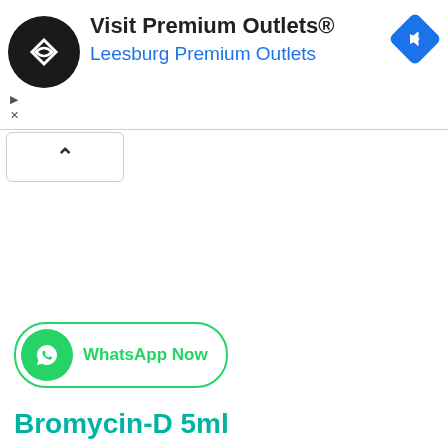[Figure (screenshot): Advertisement banner for 'Visit Premium Outlets® Leesburg Premium Outlets' with a circular black logo with diamond/loop icon on the left and a blue diamond navigation icon on the right. Below are small play and close (X) ad indicators.]
[Figure (screenshot): A collapse/chevron-up button (^) in a rounded rectangle, used to collapse the ad banner.]
[Figure (screenshot): WhatsApp Now button with green WhatsApp icon circle on the left and green text 'WhatsApp Now' inside a green-bordered pill shape.]
Bromycin-D 5ml